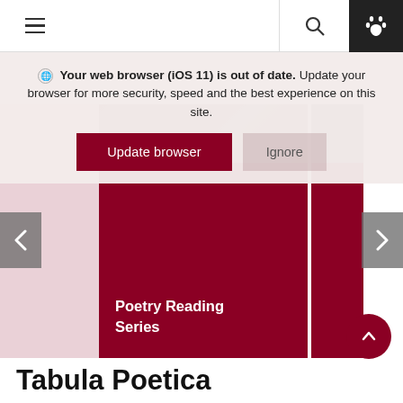Navigation bar with hamburger menu, search icon, and paw icon
Your web browser (iOS 11) is out of date. Update your browser for more security, speed and the best experience on this site.
[Figure (screenshot): Browser update warning overlay with 'Update browser' and 'Ignore' buttons over a dark red carousel slide showing 'Poetry Reading Series']
Tabula Poetica